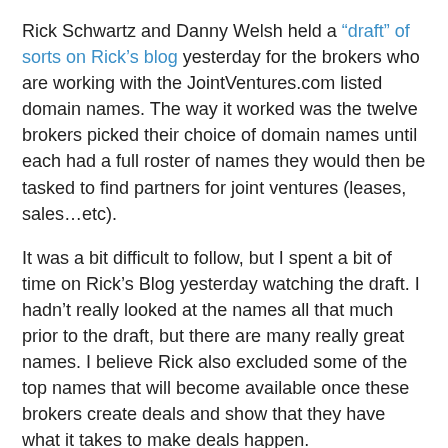Rick Schwartz and Danny Welsh held a "draft" of sorts on Rick's blog yesterday for the brokers who are working with the JointVentures.com listed domain names. The way it worked was the twelve brokers picked their choice of domain names until each had a full roster of names they would then be tasked to find partners for joint ventures (leases, sales…etc).
It was a bit difficult to follow, but I spent a bit of time on Rick's Blog yesterday watching the draft. I hadn't really looked at the names all that much prior to the draft, but there are many really great names. I believe Rick also excluded some of the top names that will become available once these brokers create deals and show that they have what it takes to make deals happen.
In any case, as I followed along, I was surprised that some names were chosen so high and surprised at how low some names were selected. In total, 206 domain lots (a few had more than one name included) were selected by the brokers. You can see who selected what in a subsequent post today.